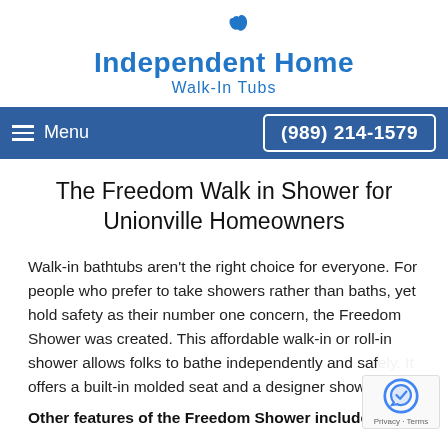[Figure (logo): Independent Home Walk-In Tubs logo with blue wave icon and blue text]
Menu   (989) 214-1579
The Freedom Walk in Shower for Unionville Homeowners
Walk-in bathtubs aren't the right choice for everyone. For people who prefer to take showers rather than baths, yet hold safety as their number one concern, the Freedom Shower was created. This affordable walk-in or roll-in shower allows folks to bathe independently and safely. It offers a built-in molded seat and a designer shower...
Other features of the Freedom Shower include: